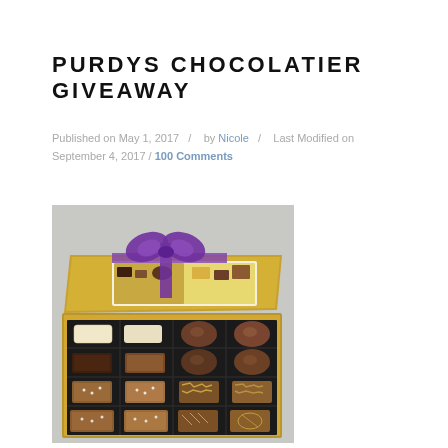PURDYS CHOCOLATIER GIVEAWAY
Published on May 1, 2017 / by Nicole / Last Modified on September 4, 2017 / 100 Comments
[Figure (photo): Open gold box of Purdys chocolatier assorted chocolates with purple ribbon on the lid, showing two rows of various chocolate truffles and squares arranged in a black tray insert, photographed on a grey background.]